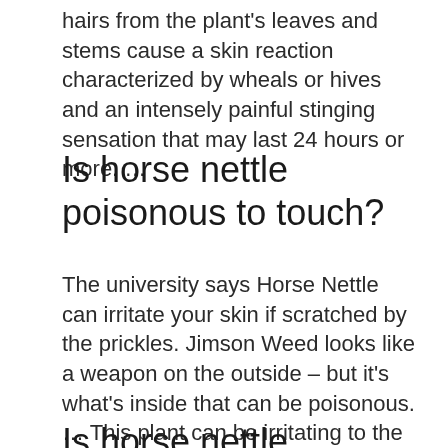hairs from the plant's leaves and stems cause a skin reaction characterized by wheals or hives and an intensely painful stinging sensation that may last 24 hours or more. …
Is horse nettle poisonous to touch?
The university says Horse Nettle can irritate your skin if scratched by the prickles. Jimson Weed looks like a weapon on the outside – but it's what's inside that can be poisonous. … This plant can be irritating to the skin, causing an allergic reaction that produces itchy red spots and blistering.
Is horse nettle poisonous to